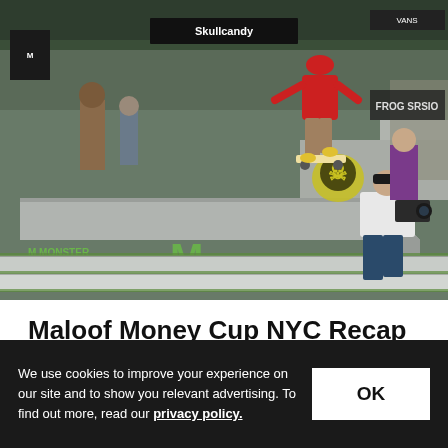[Figure (photo): Outdoor skateboarding competition photo at Maloof Money Cup NYC. A skateboarder in a red shirt and red cap performs a trick on a large concrete ledge/obstacle decorated with Monster Energy logos in green. A cameraman crouches in the background filming. Skullcandy and other sponsor banners are visible. Bleachers and crowd visible in background.]
Maloof Money Cup NYC Recap
The Maloof Money Cup made it's New York City debut this
We use cookies to improve your experience on our site and to show you relevant advertising. To find out more, read our privacy policy.
OK